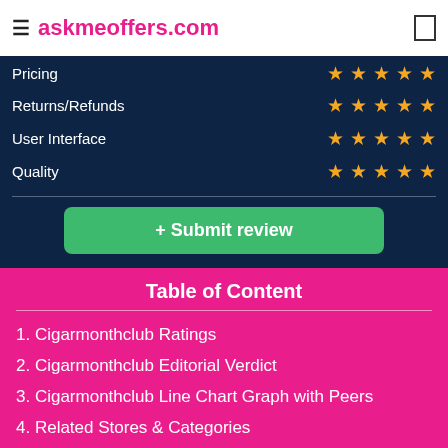≡ askmeoffers.com
Pricing ★★★★★
Returns/Refunds ★★★★★
User Interface ★★★★★
Quality ★★★★★
+ Submit review
Table of Content
1. Cigarmonthclub Ratings
2. Cigarmonthclub Editorial Verdict
3. Cigarmonthclub Line Chart Graph with Peers
4. Related Stores & Categories
5. Frequently Asked Questions(FAQs)